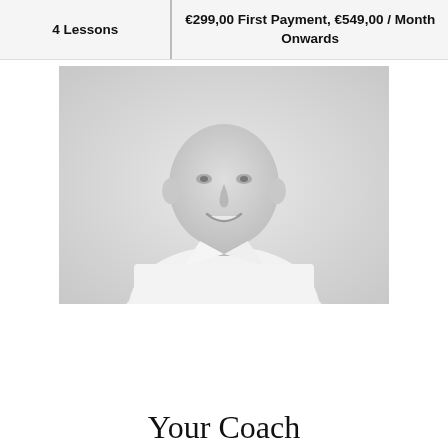| Lessons | Price |
| --- | --- |
| 4 Lessons | €299,00 First Payment, €549,00 / Month Onwards |
[Figure (photo): Black and white professional headshot photo of a bald smiling man in a white dress shirt, upper body visible, light grey background]
Your Coach